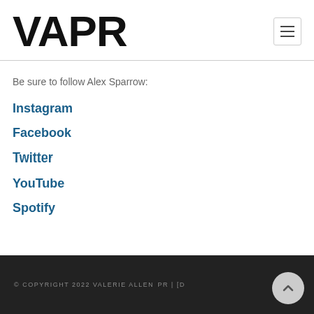VAPR
Be sure to follow Alex Sparrow:
Instagram
Facebook
Twitter
YouTube
Spotify
© COPYRIGHT 2022 VALERIE ALLEN PR | [D